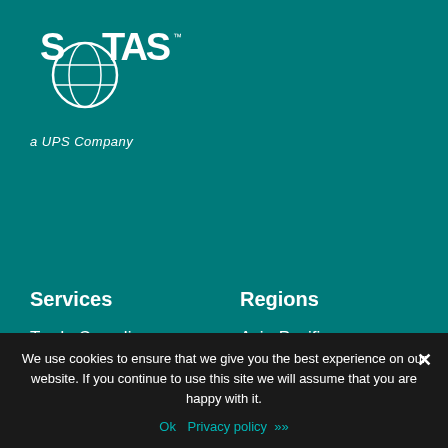[Figure (logo): STTAS a UPS Company logo — white logo with globe icon on teal background, with text 'a UPS Company' below]
Services
Trade Compliance
Duty Drawback
Duty Optimization
Consulting Services
Regions
Asia-Pacific
Europe, Middle East & Africa
North America
Latin America
We use cookies to ensure that we give you the best experience on our website. If you continue to use this site we will assume that you are happy with it.
Ok   Privacy policy >>